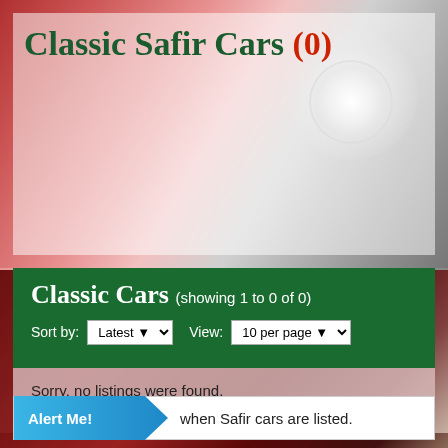[Figure (photo): Classic red car background photo, serving as page hero image backdrop]
Classic Safir Cars (0)
Classic Cars (showing 1 to 0 of 0)
Sort by: Latest   View: 10 per page
Sorry, no listings were found.
Classic Cars (showing 1 to 0 of 0)
Sort by: Latest   View: 10 per page
Alert Me! when Safir cars are listed.